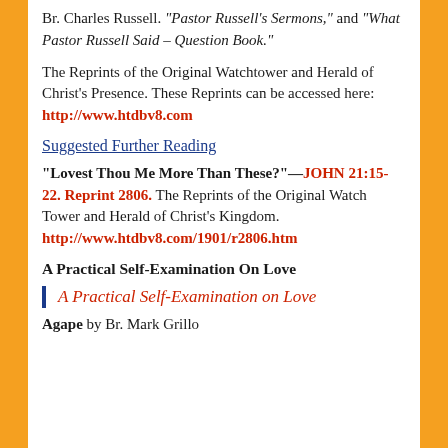Br. Charles Russell. “Pastor Russell’s Sermons,” and “What Pastor Russell Said – Question Book.”
The Reprints of the Original Watchtower and Herald of Christ’s Presence. These Reprints can be accessed here: http://www.htdbv8.com
Suggested Further Reading
“Lovest Thou Me More Than These?”—JOHN 21:15-22. Reprint 2806. The Reprints of the Original Watch Tower and Herald of Christ’s Kingdom. http://www.htdbv8.com/1901/r2806.htm
A Practical Self-Examination On Love
A Practical Self-Examination on Love
Agape by Br. Mark Grillo